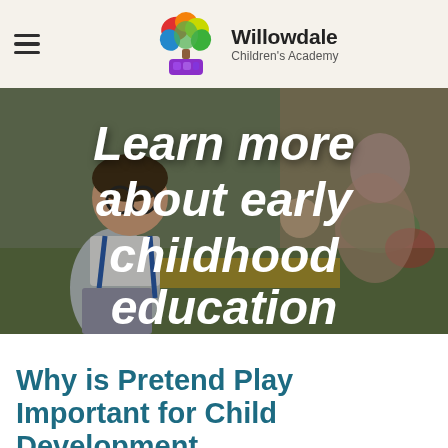Willowdale Children's Academy
[Figure (photo): Child in classroom with teacher in background, overlaid with large white italic text reading 'Learn more about early childhood education']
Why is Pretend Play Important for Child Development